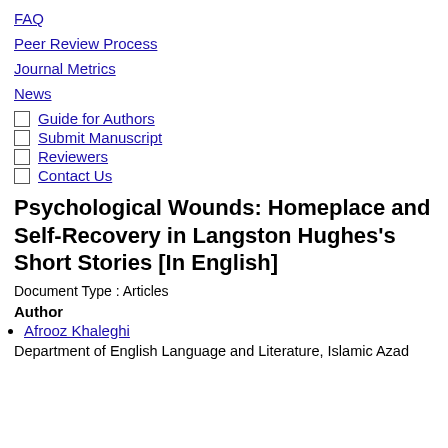FAQ
Peer Review Process
Journal Metrics
News
Guide for Authors
Submit Manuscript
Reviewers
Contact Us
Psychological Wounds: Homeplace and Self-Recovery in Langston Hughes’s Short Stories [In English]
Document Type : Articles
Author
Afrooz Khaleghi
Department of English Language and Literature, Islamic Azad